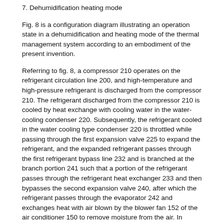7. Dehumidification heating mode
Fig. 8 is a configuration diagram illustrating an operation state in a dehumidification and heating mode of the thermal management system according to an embodiment of the present invention.
Referring to fig. 8, a compressor 210 operates on the refrigerant circulation line 200, and high-temperature and high-pressure refrigerant is discharged from the compressor 210. The refrigerant discharged from the compressor 210 is cooled by heat exchange with cooling water in the water-cooling condenser 220. Subsequently, the refrigerant cooled in the water cooling type condenser 220 is throttled while passing through the first expansion valve 225 to expand the refrigerant, and the expanded refrigerant passes through the first refrigerant bypass line 232 and is branched at the branch portion 241 such that a portion of the refrigerant passes through the refrigerant heat exchanger 233 and then bypasses the second expansion valve 240, after which the refrigerant passes through the evaporator 242 and exchanges heat with air blown by the blower fan 152 of the air conditioner 150 to remove moisture from the air. In addition, the refrigerant